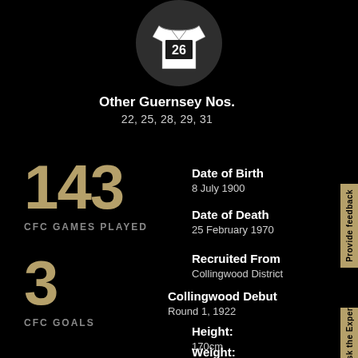[Figure (illustration): Dark circle with jersey/guernsey icon showing number 26]
Other Guernsey Nos.
22, 25, 28, 29, 31
143
CFC GAMES PLAYED
3
CFC GOALS
Date of Birth
8 July 1900
Date of Death
25 February 1970
Recruited From
Collingwood District
Collingwood Debut
Round 1, 1922
Height:
170cm
Weight:
70kg